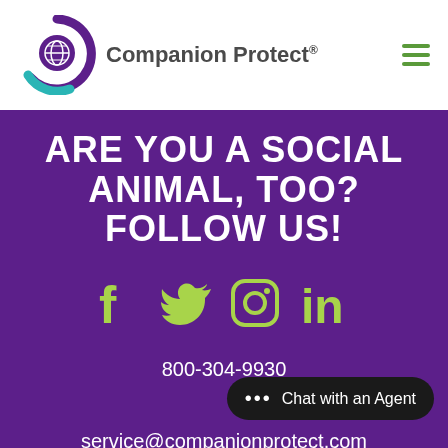[Figure (logo): Companion Protect logo with circular paw/globe icon in purple and teal, and bold text 'Companion Protect®']
ARE YOU A SOCIAL ANIMAL, TOO? FOLLOW US!
[Figure (infographic): Social media icons: Facebook, Twitter, Instagram, LinkedIn in lime green color]
800-304-9930
service@companionprotect.com
10950 El Monte St, Overland Park, KS 66211
Monday—Friday: 8am–8pm
Saturday 9am–5pm